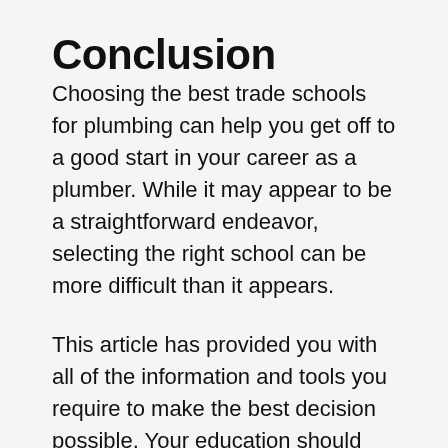Conclusion
Choosing the best trade schools for plumbing can help you get off to a good start in your career as a plumber. While it may appear to be a straightforward endeavor, selecting the right school can be more difficult than it appears.
This article has provided you with all of the information and tools you require to make the best decision possible. Your education should meet and surpass your expectations, as well as